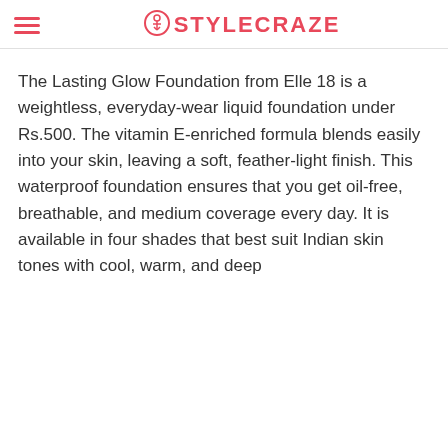STYLECRAZE
The Lasting Glow Foundation from Elle 18 is a weightless, everyday-wear liquid foundation under Rs.500. The vitamin E-enriched formula blends easily into your skin, leaving a soft, feather-light finish. This waterproof foundation ensures that you get oil-free, breathable, and medium coverage every day. It is available in four shades that best suit Indian skin tones with cool, warm, and deep